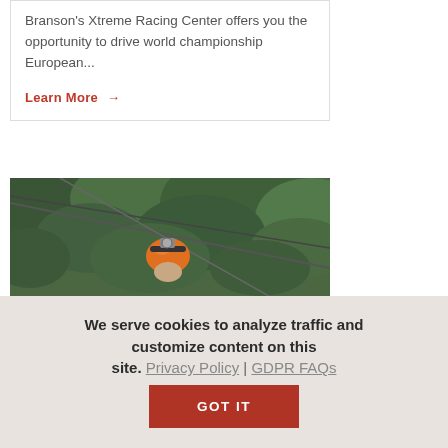Branson's Xtreme Racing Center offers you the opportunity to drive world championship European...
Learn More →
[Figure (photo): Photo of a person wearing an orange helmet on a zip line with green trees in the background]
We serve cookies to analyze traffic and customize content on this site. Privacy Policy | GDPR FAQs
GOT IT